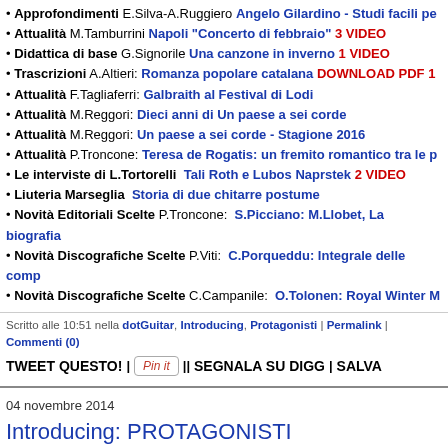• Approfondimenti E.Silva-A.Ruggiero Angelo Gilardino - Studi facili pe...
• Attualità M.Tamburrini Napoli "Concerto di febbraio" 3 VIDEO
• Didattica di base G.Signorile Una canzone in inverno 1 VIDEO
• Trascrizioni A.Altieri: Romanza popolare catalana DOWNLOAD PDF 1...
• Attualità F.Tagliaferri: Galbraith al Festival di Lodi
• Attualità M.Reggori: Dieci anni di Un paese a sei corde
• Attualità M.Reggori: Un paese a sei corde - Stagione 2016
• Attualità P.Troncone: Teresa de Rogatis: un fremito romantico tra le pi...
• Le interviste di L.Tortorelli  Tali Roth e Lubos Naprstek 2 VIDEO
• Liuteria Marseglia  Storia di due chitarre postume
• Novità Editoriali Scelte P.Troncone:  S.Picciano: M.Llobet, La biografia...
• Novità Discografiche Scelte P.Viti:  C.Porqueddu: Integrale delle comp...
• Novità Discografiche Scelte C.Campanile:  O.Tolonen: Royal Winter M...
Scritto alle 10:51 nella dotGuitar, Introducing, Protagonisti | Permalink | Commenti (0)
TWEET QUESTO! | Pin it || SEGNALA SU DIGG | SALVA...
04 novembre 2014
Introducing: PROTAGONISTI
I nuovi articoli Novembre 2014
• Home
• Protagonisti Lucio Matarazzo: Incontro con Alberto Mesirca  2 VIDEO
-> Discografia
-> Pubblicazioni